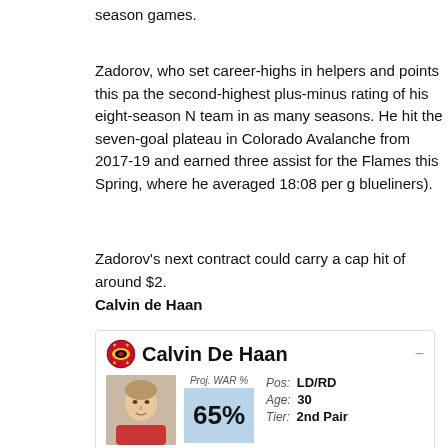season games.
Zadorov, who set career-highs in helpers and points this pa the second-highest plus-minus rating of his eight-season N team in as many seasons. He hit the seven-goal plateau in Colorado Avalanche from 2017-19 and earned three assist for the Flames this Spring, where he averaged 18:08 per g blueliners).
Zadorov's next contract could carry a cap hit of around $2.
Calvin de Haan
[Figure (infographic): Chicago Blackhawks player card for Calvin De Haan showing team logo, player name, photo, Proj. WAR % of 65%, Position: LD/RD, Age: 30, and partially visible tier: 2nd Pair]